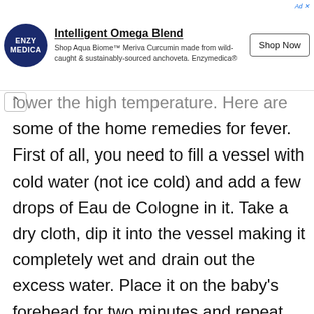[Figure (other): Advertisement banner for Enzymedica Intelligent Omega Blend / Aqua Biome Meriva Curcumin with logo, Shop Now button]
lower the high temperature. Here are some of the home remedies for fever. First of all, you need to fill a vessel with cold water (not ice cold) and add a few drops of Eau de Cologne in it. Take a dry cloth, dip it into the vessel making it completely wet and drain out the excess water. Place it on the baby's forehead for two minutes and repeat the process. You should be doing this three to four times in a day for at least 20 to 25 minutes. This will help lower the temperature to a great extent.